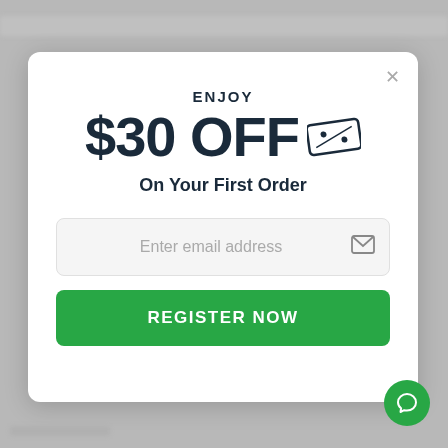ENJOY
$30 OFF
On Your First Order
Enter email address
REGISTER NOW